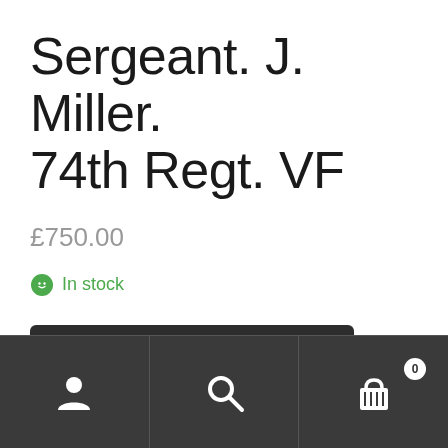Sergeant. J. Miller. 74th Regt. VF
£750.00
In stock
Add to basket